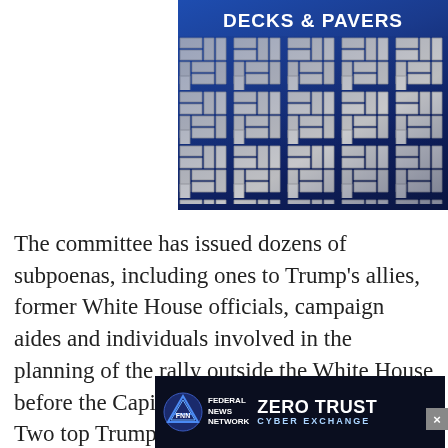[Figure (photo): Advertisement banner for Decks & Pavers showing a herringbone pattern of stone/concrete pavers on a dark blue background]
The committee has issued dozens of subpoenas, including ones to Trump’s allies, former White House officials, campaign aides and individuals involved in the planning of the rally outside the White House before the Capitol building came under siege. Two top Trump allies, Steve Bannon and former White House chief of staff Mark Meadows, have been held in contempt of Congress for refusing to comply with subpoenas, and the Justice Department has charg... ing instru...
[Figure (photo): Advertisement for Federal News Network Zero Trust Cyber Exchange on dark blue/black background with logo and stylized text]